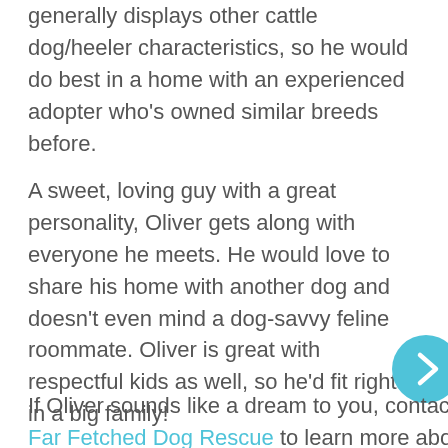generally displays other cattle dog/heeler characteristics, so he would do best in a home with an experienced adopter who's owned similar breeds before.
A sweet, loving guy with a great personality, Oliver gets along with everyone he meets. He would love to share his home with another dog and doesn't even mind a dog-savvy feline roommate. Oliver is great with respectful kids as well, so he'd fit right in a big family!
If Oliver sounds like a dream to you, contact Far Fetched Dog Rescue to learn more about him and the adoption process.